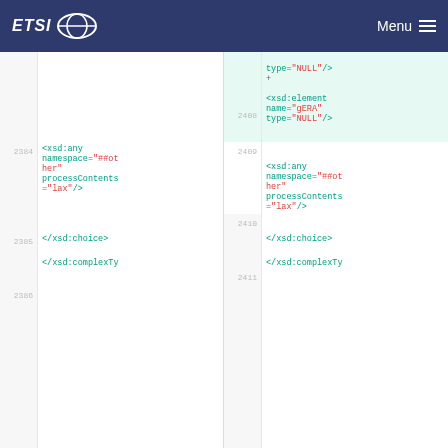ETSI  Menu
[Figure (screenshot): Code diff view showing XML schema code. Left pane shows lines 2384-2386 with xsd:any, namespace, processContents, xsd:choice, xsd:complexTy elements. Right pane shows lines 2408-2411 with added lines including type=NULL and xsd:element name=gERA type=NULL highlighted in green, followed by similar xsd:any, xsd:choice, xsd:complexTy elements.]